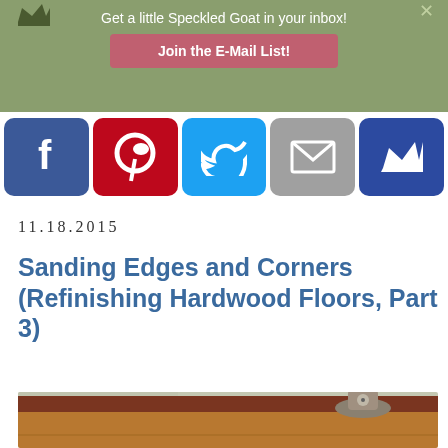Get a little Speckled Goat in your inbox! Join the E-Mail List!
[Figure (infographic): Social sharing buttons: Facebook (blue), Pinterest (red), Twitter (light blue), Email (gray), Crown/subscribe (dark blue)]
11.18.2015
Sanding Edges and Corners (Refinishing Hardwood Floors, Part 3)
[Figure (photo): Photo showing a floor edge sander / edger machine near a baseboard, on a hardwood floor with a light-colored wall in the background]